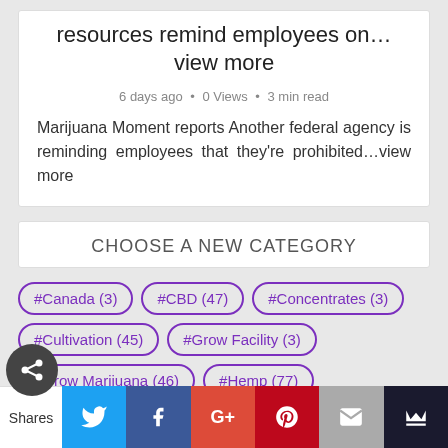resources remind employees on...view more
6 days ago · 0 Views · 3 min read
Marijuana Moment reports Another federal agency is reminding employees that they're prohibited...view more
CHOOSE A NEW CATEGORY
#Canada (3)
#CBD (47)
#Concentrates (3)
#Cultivation (45)
#Grow Facility (3)
#Grow Marijuana (46)
#Hemp (77)
#Legalize Marijuana Now (13)
#Marijuana (1811)
#Marijuana Banking (5)
#Marijuana Business (47)